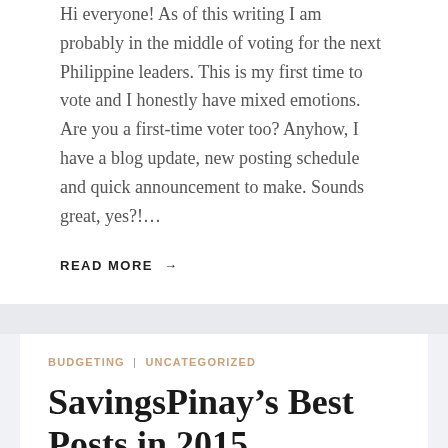Hi everyone! As of this writing I am probably in the middle of voting for the next Philippine leaders. This is my first time to vote and I honestly have mixed emotions. Are you a first-time voter too? Anyhow, I have a blog update, new posting schedule and quick announcement to make. Sounds great, yes?!…
READ MORE →
BUDGETING | UNCATEGORIZED
SavingsPinay's Best Posts in 2015
By Izza of SavingsPinayPH • December 29, 2015